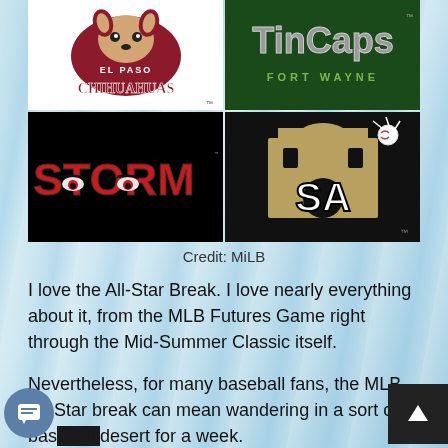[Figure (illustration): A collage of four Minor League Baseball team logos: El Paso Chihuahuas (top-left, white background), Fort Wayne TinCaps (top-right, dark green background), Lake Elsinore Storm (bottom-left, black background), and San Antonio Missions (bottom-right, black background).]
Credit: MiLB
I love the All-Star Break. I love nearly everything about it, from the MLB Futures Game right through the Mid-Summer Classic itself.
Nevertheless, for many baseball fans, the MLB All-Star break can mean wandering in a sort of baseball desert for a week.